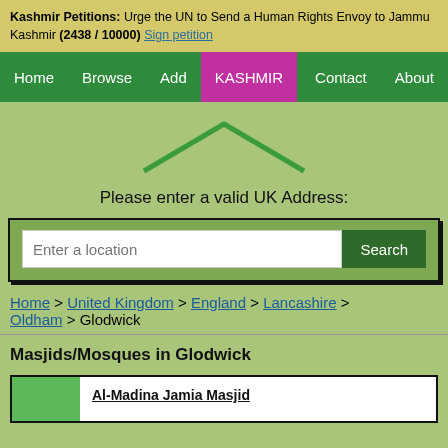Kashmir Petitions: Urge the UN to Send a Human Rights Envoy to Jammu Kashmir (2438 / 10000) Sign petition
[Figure (screenshot): Navigation bar with Home, Browse, Add, KASHMIR (highlighted in pink/magenta), Contact, About tabs on green background]
[Figure (illustration): Green chevron/roof icon on light green background]
Please enter a valid UK Address:
[Figure (screenshot): Search box with text input 'Enter a location' and green Search button]
Home > United Kingdom > England > Lancashire > Oldham > Glodwick
Masjids/Mosques in Glodwick
Al-Madina Jamia Masjid